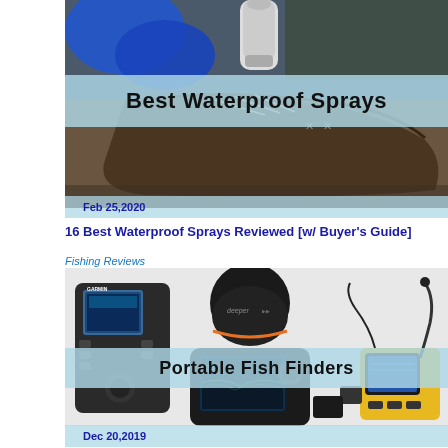[Figure (photo): Person holding a spray can above a boot, product image for waterproof sprays]
Best Waterproof Sprays
Feb 25,2020
16 Best Waterproof Sprays Reviewed [w/ Buyer's Guide]
Fishing Reviews
[Figure (photo): Multiple portable fish finder devices including Garmin, Deeper, and handheld sonar units]
Portable Fish Finders
Dec 20,2019